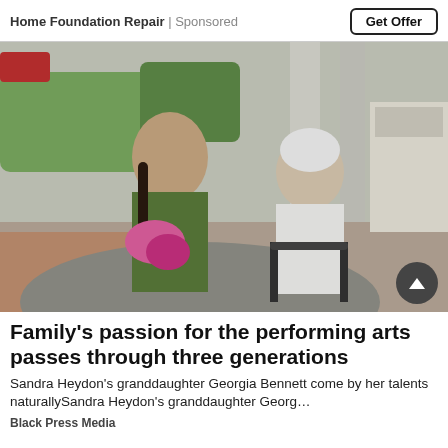Home Foundation Repair | Sponsored
[Figure (photo): A young woman with braids wearing a green sweater sits beside an elderly woman with white hair in a white jacket, both smiling outdoors near a concrete structure. The young woman holds pink flowers.]
Family's passion for the performing arts passes through three generations
Sandra Heydon's granddaughter Georgia Bennett come by her talents naturallySandra Heydon's granddaughter Georg…
Black Press Media